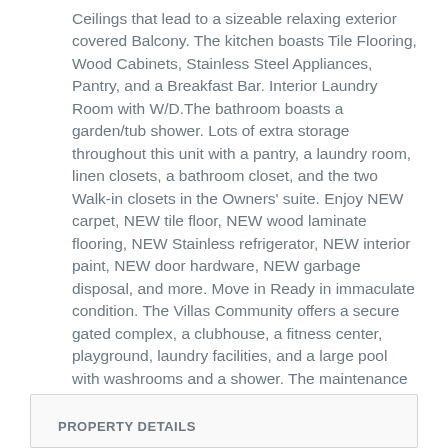Ceilings that lead to a sizeable relaxing exterior covered Balcony. The kitchen boasts Tile Flooring, Wood Cabinets, Stainless Steel Appliances, Pantry, and a Breakfast Bar. Interior Laundry Room with W/D.The bathroom boasts a garden/tub shower. Lots of extra storage throughout this unit with a pantry, a laundry room, linen closets, a bathroom closet, and the two Walk-in closets in the Owners' suite. Enjoy NEW carpet, NEW tile floor, NEW wood laminate flooring, NEW Stainless refrigerator, NEW interior paint, NEW door hardware, NEW garbage disposal, and more. Move in Ready in immaculate condition. The Villas Community offers a secure gated complex, a clubhouse, a fitness center, playground, laundry facilities, and a large pool with washrooms and a shower. The maintenance fees include Spectrum Hi-Speed internet and a complete cable TV package (200+ channels), HBO included as a bonus, and 2 TV boxes. Peaceful unit WITHOUT neighbors upstairs or downstairs. Location, location, location! Close to restaurants, malls, shopping, parks, and only minutes from I-75, I-275, I-4, USF, and Downtown Tampa. Call today for a private tour.
PROPERTY DETAILS